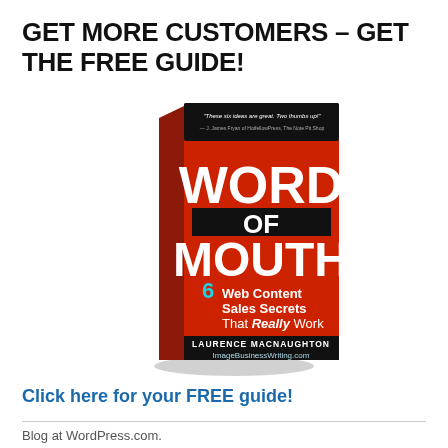GET MORE CUSTOMERS – GET THE FREE GUIDE!
[Figure (photo): Book cover of 'Word of Mouth: 6 Web Content Sales Secrets That Really Work' by Laurence MacNaughton, ImageBusinessWriting.com. Red cover with bold white text, photographed at an angle showing spine.]
Click here for your FREE guide!
Blog at WordPress.com.